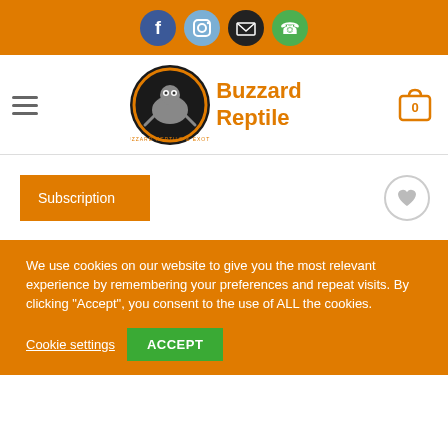Buzzard Reptile – social icons header bar
[Figure (logo): Buzzard Reptile logo with cartoon reptile in circular badge, brand name in orange text]
Subscription
We use cookies on our website to give you the most relevant experience by remembering your preferences and repeat visits. By clicking "Accept", you consent to the use of ALL the cookies.
Cookie settings
ACCEPT